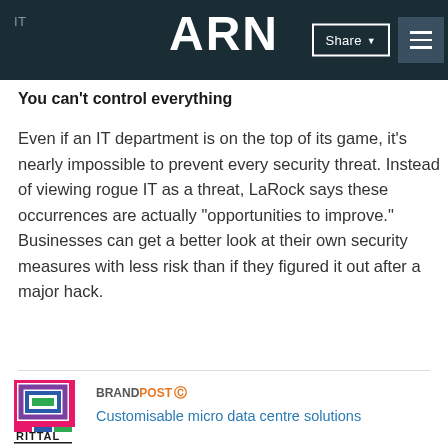IT ARN Share
You can't control everything
Even if an IT department is on the top of its game, it's nearly impossible to prevent every security threat. Instead of viewing rogue IT as a threat, LaRock says these occurrences are actually "opportunities to improve." Businesses can get a better look at their own security measures with less risk than if they figured it out after a major hack.
[Figure (logo): Rittal logo with colorful nested rectangles and RITTAL wordmark]
BRANDPOSTⓘ Customisable micro data centre solutions